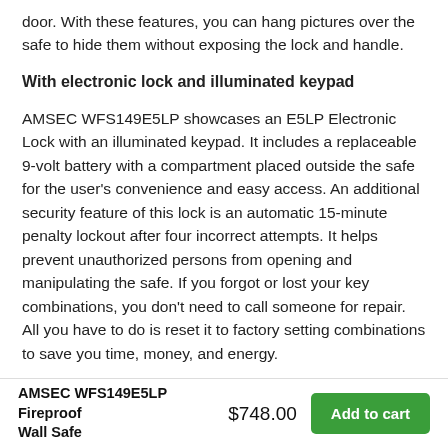door. With these features, you can hang pictures over the safe to hide them without exposing the lock and handle.
With electronic lock and illuminated keypad
AMSEC WFS149E5LP showcases an E5LP Electronic Lock with an illuminated keypad. It includes a replaceable 9-volt battery with a compartment placed outside the safe for the user's convenience and easy access. An additional security feature of this lock is an automatic 15-minute penalty lockout after four incorrect attempts. It helps prevent unauthorized persons from opening and manipulating the safe. If you forgot or lost your key combinations, you don't need to call someone for repair. All you have to do is reset it to factory setting combinations to save you time, money, and energy.
AMSEC WFS149E5LP Fireproof Wall Safe  $748.00  Add to cart